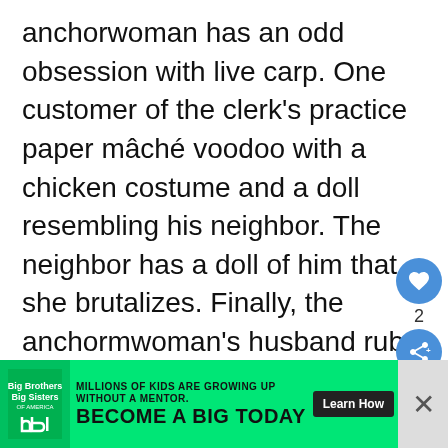anchorwoman has an odd obsession with live carp. One customer of the clerk's practice paper mâché voodoo with a chicken costume and a doll resembling his neighbor. The neighbor has a doll of him that she brutalizes. Finally, the anchormwoman's husband rubs homemade contraptions to rub all over his body. Conspirators could simply be a character study that, while still strange, would not be nearly as creepy. Švankmajer's known for his animation and puppetry, but Conspirators offers limited of each. On ma...
[Figure (other): UI overlay with heart (like) button showing count 2 and share button, both in blue circles on the right side of the page]
[Figure (other): Big Brothers Big Sisters advertisement banner with green background, logo, text 'MILLIONS OF KIDS ARE GROWING UP WITHOUT A MENTOR. BECOME A BIG TODAY' and Learn How button]